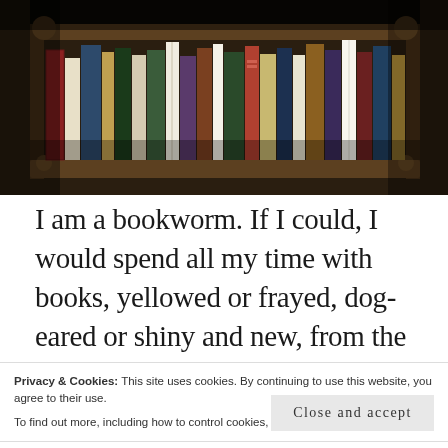[Figure (photo): A dimly lit photograph of a wooden bookshelf filled with many books of various colors and sizes arranged vertically]
I am a bookworm. If I could, I would spend all my time with books, yellowed or frayed, dog-eared or shiny and new, from the
Privacy & Cookies: This site uses cookies. By continuing to use this website, you agree to their use.
To find out more, including how to control cookies, see here: Cookie Policy
Close and accept